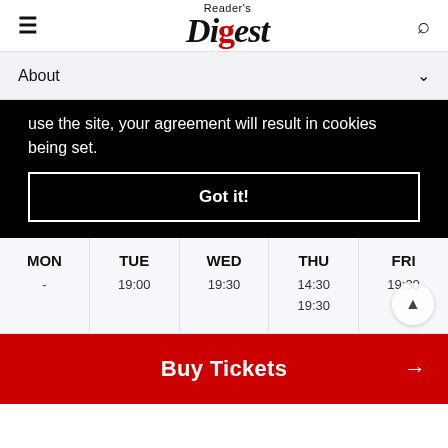Reader's Digest
About
use the site, your agreement will result in cookies being set.
Got it!
| MON | TUE | WED | THU | FRI |
| --- | --- | --- | --- | --- |
| - | 19:00 | 19:30 | 14:30
19:30 | 19:30 |
Buy Tickets →